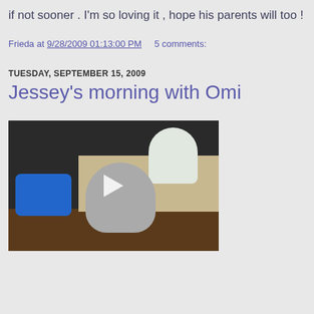if not sooner . I'm so loving it , hope his parents will too !
Frieda at 9/28/2009 01:13:00 PM    5 comments:
TUESDAY, SEPTEMBER 15, 2009
Jessey's morning with Omi
[Figure (photo): Video thumbnail showing a young child playing with colorful toys on a floor, with a bouquet of flowers (white and red roses) visible on a table in the background. A play button overlay is visible in the center of the image.]